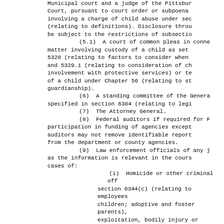Municipal court and a judge of the Pittsburgh Court, pursuant to court order or subpoena involving a charge of child abuse under sec (relating to definitions). Disclosure throu be subject to the restrictions of subsectio (5.1) A court of common pleas in conne matter involving custody of a child as set 5328 (relating to factors to consider when and 5329.1 (relating to consideration of ch involvement with protective services) or te of a child under Chapter 56 (relating to st guardianship). (6) A standing committee of the Genera specified in section 6384 (relating to legi (7) The Attorney General. (8) Federal auditors if required for F participation in funding of agencies except auditors may not remove identifiable report from the department or county agencies. (9) Law enforcement officials of any j as the information is relevant in the cours cases of: (i) Homicide or other criminal off section 6344(c) (relating to employees children; adoptive and foster parents), exploitation, bodily injury or serious by a perpetrator or nonperpetrator. (ii) Child abuse other than that i subparagraph (i) by a nonperpetrator. (iii) Repeated physical injury to